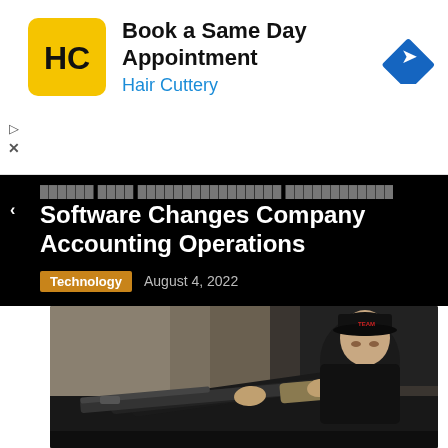[Figure (other): Hair Cuttery advertisement banner with logo, text 'Book a Same Day Appointment / Hair Cuttery', and a navigation/directions diamond icon]
Software Changes Company Accounting Operations
Technology   August 4, 2022
[Figure (photo): A man wearing a black cap with 'TEAM' text and a black shirt, aiming a rifle, photographed indoors against a concrete wall]